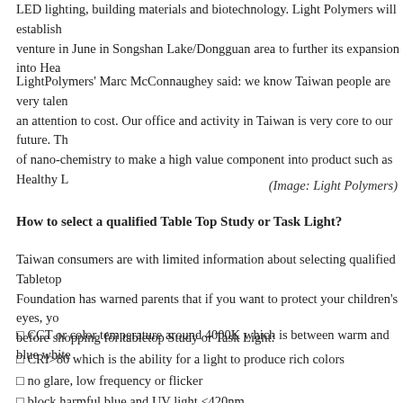LED lighting, building materials and biotechnology. Light Polymers will establish a venture in June in Songshan Lake/Dongguan area to further its expansion into Hea
LightPolymers' Marc McConnaughey said: we know Taiwan people are very talented with an attention to cost. Our office and activity in Taiwan is very core to our future. Th of nano-chemistry to make a high value component into product such as Healthy L
(Image: Light Polymers)
How to select a qualified Table Top Study or Task Light?
Taiwan consumers are with limited information about selecting qualified Tabletop Foundation has warned parents that if you want to protect your children's eyes, yo before shopping for tabletop Study or Task Light:
CCT or color temperature around 4000K which is between warm and blue white
CRI>80 which is the ability for a light to produce rich colors
no glare, low frequency or flicker
block harmful blue and UV light <420nm